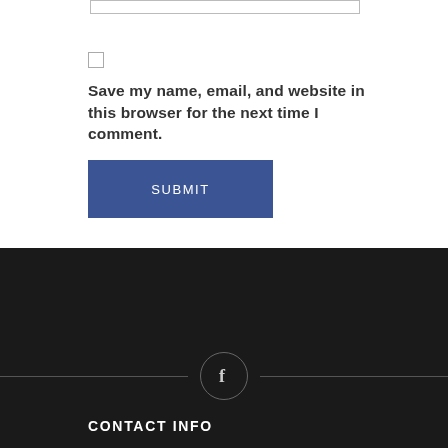Save my name, email, and website in this browser for the next time I comment.
SUBMIT
[Figure (other): Facebook icon circle with horizontal divider lines on either side, on dark background]
CONTACT INFO